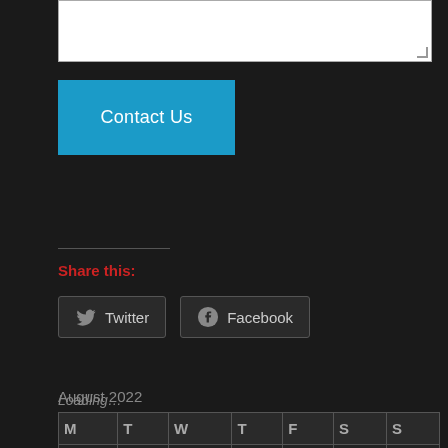[Figure (screenshot): White textarea input box with resize handle at bottom-right corner]
Contact Us
Share this:
[Figure (screenshot): Twitter and Facebook social share buttons with icons]
Loading…
August 2022
| M | T | W | T | F | S | S |
| --- | --- | --- | --- | --- | --- | --- |
| 1 | 2 | 3 | 4 | 5 | 6 | 7 |